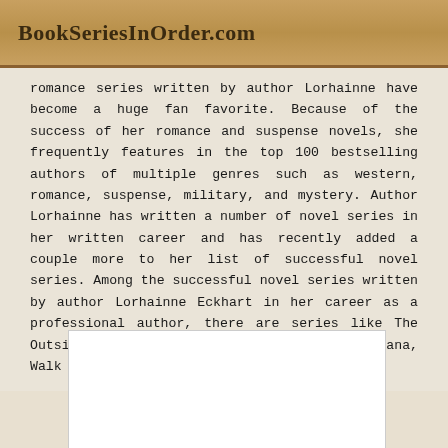BookSeriesInOrder.com
romance series written by author Lorhainne have become a huge fan favorite. Because of the success of her romance and suspense novels, she frequently features in the top 100 bestselling authors of multiple genres such as western, romance, suspense, military, and mystery. Author Lorhainne has written a number of novel series in her written career and has recently added a couple more to her list of successful novel series. Among the successful novel series written by author Lorhainne Eckhart in her career as a professional author, there are series like The Outsider, The Wilde Brothers, Married in Montana, Walk the Right Road, Saved, etc.
[Figure (other): White rectangular box, likely a placeholder for an image or advertisement]